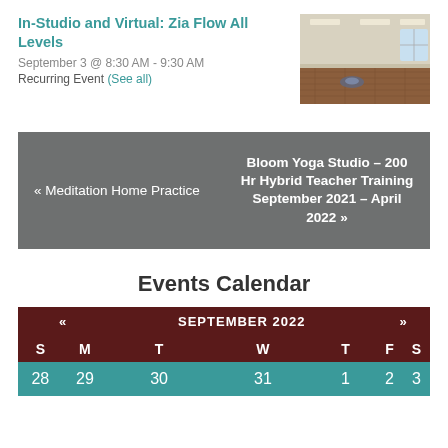In-Studio and Virtual: Zia Flow All Levels
September 3 @ 8:30 AM - 9:30 AM
Recurring Event (See all)
[Figure (photo): Interior of a yoga studio with hardwood floors, white walls, and a round meditation cushion on the floor]
« Meditation Home Practice
Bloom Yoga Studio – 200 Hr Hybrid Teacher Training September 2021 – April 2022 »
Events Calendar
| S | M | T | W | T | F | S |
| --- | --- | --- | --- | --- | --- | --- |
| 28 | 29 | 30 | 31 | 1 | 2 | 3 |